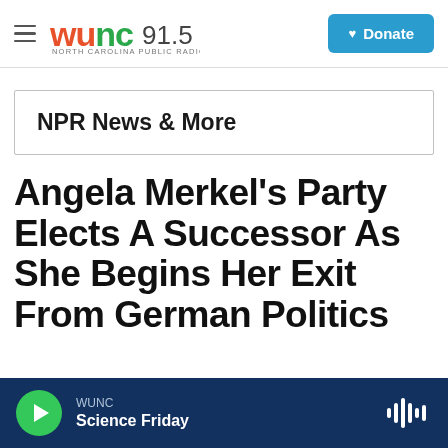WUNC 91.5 NORTH CAROLINA PUBLIC RADIO | Donate
NPR News & More
Angela Merkel's Party Elects A Successor As She Begins Her Exit From German Politics
WUNC Science Friday